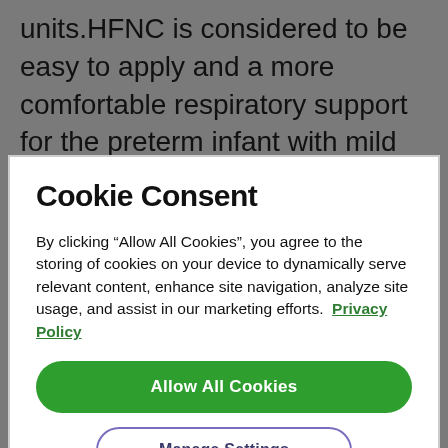units.HFNC is considered to be easy to apply and a more comfortable respiratory support for the preterm infant with mild and moderate respiratory distress. HFNC gives warm humified air with high
Cookie Consent
By clicking “Allow All Cookies”, you agree to the storing of cookies on your device to dynamically serve relevant content, enhance site navigation, analyze site usage, and assist in our marketing efforts.  Privacy Policy
Allow All Cookies
Manage Settings